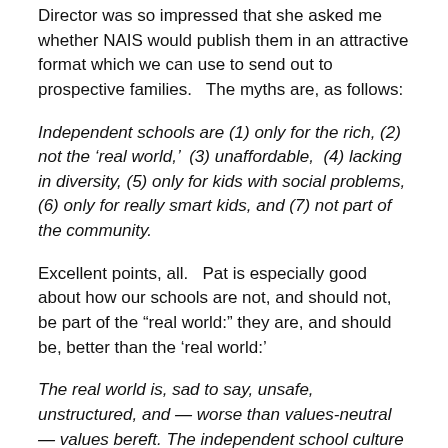Director was so impressed that she asked me whether NAIS would publish them in an attractive format which we can use to send out to prospective families.   The myths are, as follows:
Independent schools are (1) only for the rich, (2) not the ‘real world,’  (3) unaffordable,  (4) lacking in diversity, (5) only for kids with social problems, (6) only for really smart kids, and (7) not part of the community.
Excellent points, all.   Pat is especially good about how our schools are not, and should not, be part of the “real world:” they are, and should be, better than the ‘real world:’
The real world is, sad to say, unsafe, unstructured, and — worse than values-neutral — values bereft. The independent school culture is, ironically, counter-cultural in the sense of establishing a values matrix that runs counter